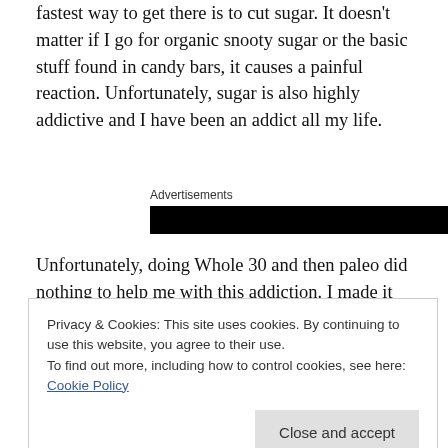fastest way to get there is to cut sugar. It doesn't matter if I go for organic snooty sugar or the basic stuff found in candy bars, it causes a painful reaction. Unfortunately, sugar is also highly addictive and I have been an addict all my life.
[Figure (other): Advertisement banner: black rectangle with label 'Advertisements' above it]
Unfortunately, doing Whole 30 and then paleo did nothing to help me with this addiction. I made it through Whole 30 only because I knew it would only be for 30 days and then
Privacy & Cookies: This site uses cookies. By continuing to use this website, you agree to their use.
To find out more, including how to control cookies, see here: Cookie Policy
diet is to teach your body to burn stored fat for energy; to